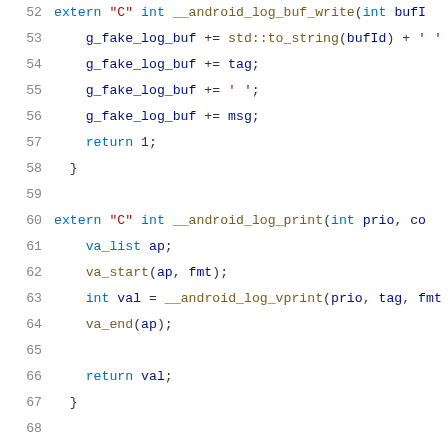[Figure (screenshot): Source code listing (C++) showing lines 52-72 with syntax highlighting. Lines include extern C functions __android_log_buf_write, __android_log_print, and __android_log_vprint with their bodies.]